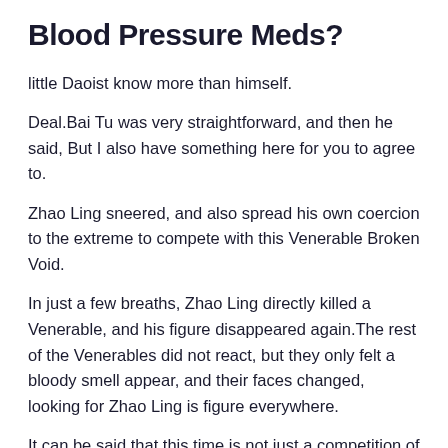Blood Pressure Meds?
little Daoist know more than himself.
Deal.Bai Tu was very straightforward, and then he said, But I also have something here for you to agree to.
Zhao Ling sneered, and also spread his own coercion to the extreme to compete with this Venerable Broken Void.
In just a few breaths, Zhao Ling directly killed a Venerable, and his figure disappeared again.The rest of the Venerables did not react, but they only felt a bloody smell appear, and their faces changed, looking for Zhao Ling is figure everywhere.
It can be said that this time is not just a competition of the younger generation, if you are not careful, you will die directly in Huangquan Looking at Zhao Ling, Huang Tianchen sighed,